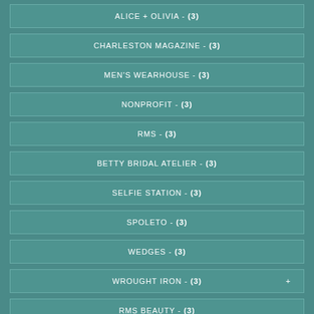ALICE + OLIVIA - (3)
CHARLESTON MAGAZINE - (3)
MEN'S WEARHOUSE - (3)
NONPROFIT - (3)
RMS - (3)
BETTY BRIDAL ATELIER - (3)
SELFIE STATION - (3)
SPOLETO - (3)
WEDGES - (3)
WROUGHT IRON - (3)
RMS BEAUTY - (3)